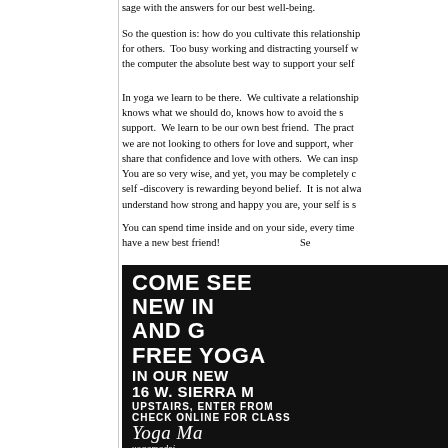sage with the answers for our best well-being.
So the question is: how do you cultivate this relationship for others. Too busy working and distracting yourself w the computer the absolute best way to support your self
In yoga we learn to be there. We cultivate a relationship knows what we should do, knows how to avoid the s support. We learn to be our own best friend. The pract we are not looking to others for love and support, wher share that confidence and love with others. We can insp You are so very wise, and yet, you may be completely c self -discovery is rewarding beyond belief. It is not alwa understand how strong and happy you are, your self is s
You can spend time inside and on your side, every time have a new best friend! Se
[Figure (photo): Advertisement for Yoga Ma studio. Black background with white bold text reading: COME SEE NEW IN AND G FREE YOGA IN OUR NEW 16 W. SIERRA M UPSTAIRS, ENTER FROM CHECK ONLINE FOR CLASS Yoga Ma yogamadri 626 355 201 Yoga Studio and Wellness C]